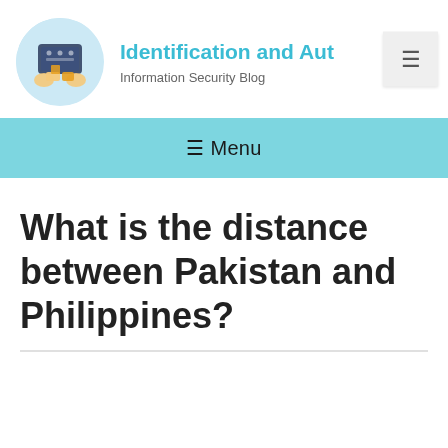Identification and Aut — Information Security Blog
[Figure (logo): Circular logo with hands holding a tablet, credit cards, boxes and security icons on a light blue background]
≡ Menu
What is the distance between Pakistan and Philippines?